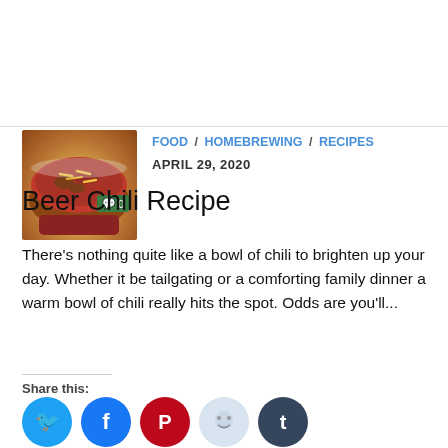[Figure (photo): Thumbnail photo of a bowl of chili with cheese, with a green comment badge showing 0 comments]
FOOD / HOMEBREWING / RECIPES
APRIL 29, 2020
Beer Chili Recipe
There’s nothing quite like a bowl of chili to brighten up your day. Whether it be tailgating or a comforting family dinner a warm bowl of chili really hits the spot. Odds are you’ll...
Share this:
Like this:
Loading